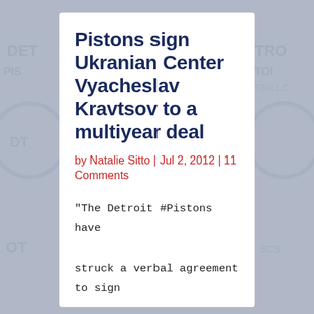Pistons sign Ukranian Center Vyacheslav Kravtsov to a multiyear deal
by Natalie Sitto | Jul 2, 2012 | 11 Comments
"The Detroit #Pistons have struck a verbal agreement to sign Ukranian centerto a multiyear deal, according to his agent. "Vyacheslav intends to sign a